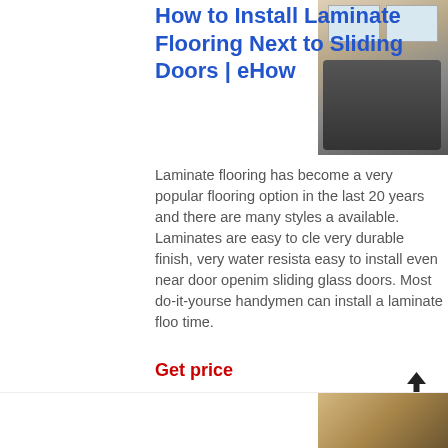How to Install Laminate Flooring Next to Sliding Doors | eHow
[Figure (photo): Photo of exercise equipment (elliptical machines) on a laminate floor in a gym with windows in the background]
Laminate flooring has become a very popular flooring option in the last 20 years and there are many styles available. Laminates are easy to clean, very durable finish, very water resistant, easy to install even near door openings sliding glass doors. Most do-it-yourselfer handymen can install a laminate floor in time.
Get price
[Figure (photo): Partial photo at bottom right of page, appears to show flooring or related content]